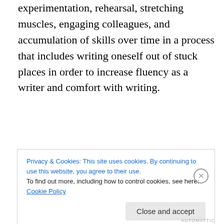experimentation, rehearsal, stretching muscles, engaging colleagues, and accumulation of skills over time in a process that includes writing oneself out of stuck places in order to increase fluency as a writer and comfort with writing.
Advertisements
AUTOMATTIC
It is that fixed mindset – only some people can write; some people are born with the gift of writing; some people can
Privacy & Cookies: This site uses cookies. By continuing to use this website, you agree to their use.
To find out more, including how to control cookies, see here: Cookie Policy
Close and accept
AUTOMATTIC